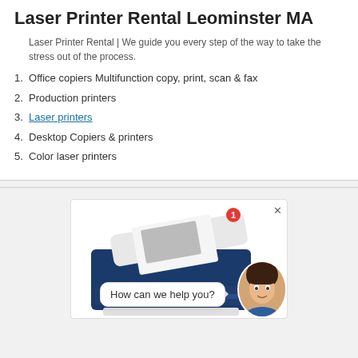Laser Printer Rental Leominster MA
Laser Printer Rental | We guide you every step of the way to take the stress out of the process.
1. Office copiers Multifunction copy, print, scan & fax
2. Production printers
3. Laser printers
4. Desktop Copiers & printers
5. Color laser printers
[Figure (photo): Photo of a blue and white multifunction laser printer with a document on the scanner bed, overlaid with a chat widget showing 'How can we help you?' and a female avatar portrait.]